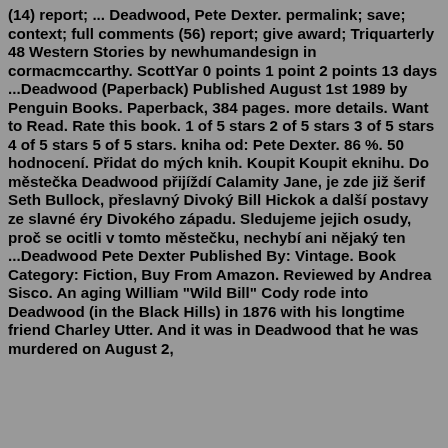(14) report; ... Deadwood, Pete Dexter. permalink; save; context; full comments (56) report; give award; Triquarterly 48 Western Stories by newhumandesign in cormacmccarthy. ScottYar 0 points 1 point 2 points 13 days ...Deadwood (Paperback) Published August 1st 1989 by Penguin Books. Paperback, 384 pages. more details. Want to Read. Rate this book. 1 of 5 stars 2 of 5 stars 3 of 5 stars 4 of 5 stars 5 of 5 stars. kniha od: Pete Dexter. 86 %. 50 hodnocení. Přidat do mých knih. Koupit Koupit eknihu. Do městečka Deadwood přijíždí Calamity Jane, je zde již šerif Seth Bullock, přeslavný Divoký Bill Hickok a další postavy ze slavné éry Divokého západu. Sledujeme jejich osudy, proč se ocitli v tomto městečku, nechybí ani nějaký ten ...Deadwood Pete Dexter Published By: Vintage. Book Category: Fiction, Buy From Amazon. Reviewed by Andrea Sisco. An aging William "Wild Bill" Cody rode into Deadwood (in the Black Hills) in 1876 with his longtime friend Charley Utter. And it was in Deadwood that he was murdered on August 2, 1876 Deadwood Pete Dexter Paperback, bds 1987...